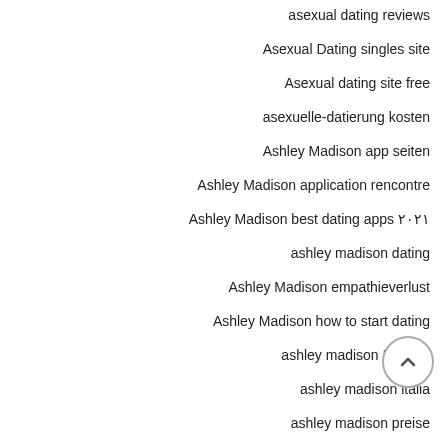asexual dating reviews
Asexual Dating singles site
Asexual dating site free
asexuelle-datierung kosten
Ashley Madison app seiten
Ashley Madison application rencontre
Ashley Madison best dating apps ۲۰۲۱
ashley madison dating
Ashley Madison empathieverlust
Ashley Madison how to start dating
ashley madison Internet
ashley madison italia
ashley madison preise